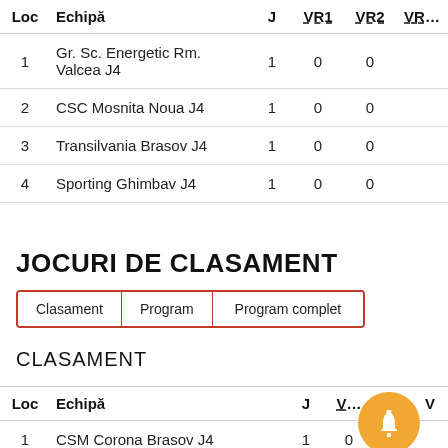| Loc | Echipă | J | VR1 | VR2 | VR... |
| --- | --- | --- | --- | --- | --- |
| 1 | Gr. Sc. Energetic Rm. Valcea J4 | 1 | 0 | 0 |  |
| 2 | CSC Mosnita Noua J4 | 1 | 0 | 0 |  |
| 3 | Transilvania Brasov J4 | 1 | 0 | 0 |  |
| 4 | Sporting Ghimbav J4 | 1 | 0 | 0 |  |
JOCURI DE CLASAMENT
Clasament | Program | Program complet
CLASAMENT
| Loc | Echipă | J | VR... | R | V... |
| --- | --- | --- | --- | --- | --- |
| 1 | CSM Corona Brasov J4 | 1 | 0 | 0 |  |